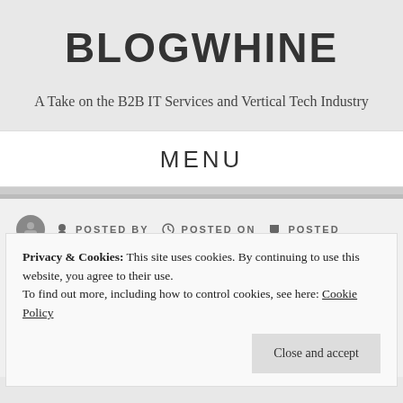BLOGWHINE
A Take on the B2B IT Services and Vertical Tech Industry
MENU
POSTED BY   POSTED ON   POSTED
Privacy & Cookies: This site uses cookies. By continuing to use this website, you agree to their use.
To find out more, including how to control cookies, see here: Cookie Policy
Close and accept
WINDOWS VISTA